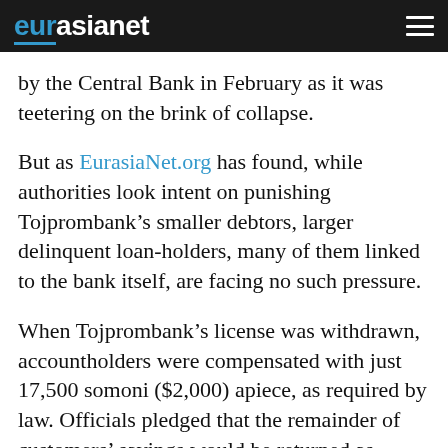eurasianet
by the Central Bank in February as it was teetering on the brink of collapse.
But as EurasiaNet.org has found, while authorities look intent on punishing Tojprombank’s smaller debtors, larger delinquent loan-holders, many of them linked to the bank itself, are facing no such pressure.
When Tojprombank’s license was withdrawn, accountholders were compensated with just 17,500 somoni ($2,000) apiece, as required by law. Officials pledged that the remainder of customers’ savings would be returned as liquidators went through the process of